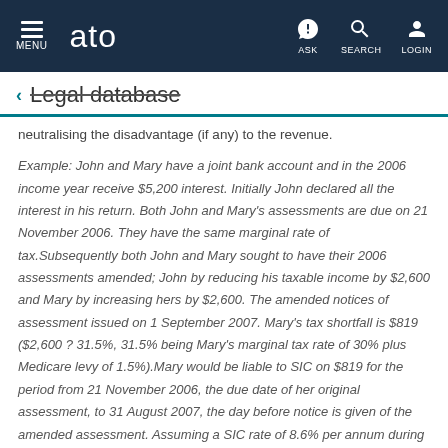ato — MENU | ASK | SEARCH | LOGIN
← Legal database
neutralising the disadvantage (if any) to the revenue.
Example: John and Mary have a joint bank account and in the 2006 income year receive $5,200 interest. Initially John declared all the interest in his return. Both John and Mary's assessments are due on 21 November 2006. They have the same marginal rate of tax.Subsequently both John and Mary sought to have their 2006 assessments amended; John by reducing his taxable income by $2,600 and Mary by increasing hers by $2,600. The amended notices of assessment issued on 1 September 2007. Mary's tax shortfall is $819 ($2,600 ? 31.5%, 31.5% being Mary's marginal tax rate of 30% plus Medicare levy of 1.5%).Mary would be liable to SIC on $819 for the period from 21 November 2006, the due date of her original assessment, to 31 August 2007, the day before notice is given of the amended assessment. Assuming a SIC rate of 8.6% per annum during this period, SIC of $56.67 will be imposed.If John had paid his original assessment on 21 November 2006 then some